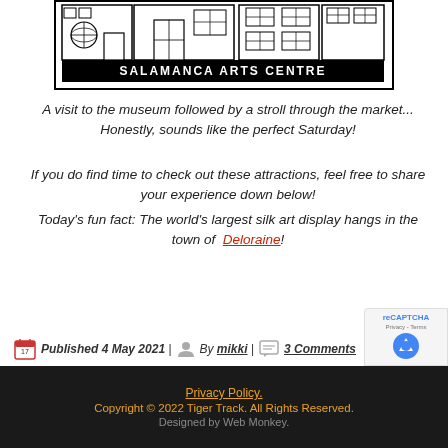[Figure (logo): Salamanca Arts Centre logo — black and white illustration of building facade with text 'SALAMANCA ARTS CENTRE' below]
A visit to the museum followed by a stroll through the market... Honestly, sounds like the perfect Saturday!
If you do find time to check out these attractions, feel free to share your experience down below!
Today's fun fact: The world's largest silk art display hangs in the town of Deloraine!
Published 4 May 2021 | By mikki | 3 Comments
Privacy Policy. Copyright © 2022 Tiger Track. All Rights Reserved. Designed by Web Monkey.